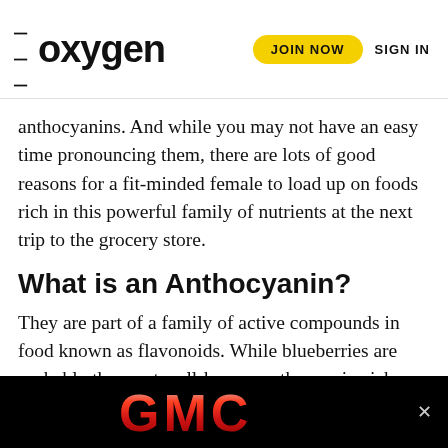oxygen | JOIN NOW | SIGN IN
anthocyanins. And while you may not have an easy time pronouncing them, there are lots of good reasons for a fit-minded female to load up on foods rich in this powerful family of nutrients at the next trip to the grocery store.
What is an Anthocyanin?
They are part of a family of active compounds in food known as flavonoids. While blueberries are probably the most well-known anthocyanin-rich food, there are plenty of other sources too, ranging from red raspberries to purple eggplants. Depending on the pH level of the food, anthocyanins can range from red in acidic foods to purple with a neutral pH, and blue in basic (think beans) th... ...ain
[Figure (logo): GMC logo advertisement banner at the bottom of the page, black background with red and silver GMC letters]